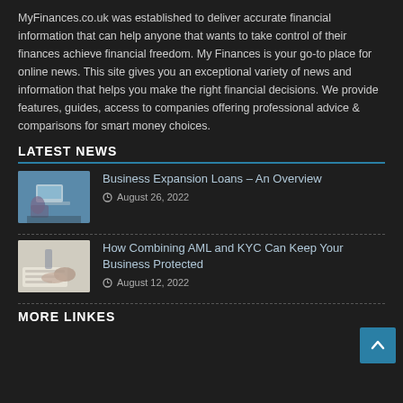MyFinances.co.uk was established to deliver accurate financial information that can help anyone that wants to take control of their finances achieve financial freedom. My Finances is your go-to place for online news. This site gives you an exceptional variety of news and information that helps you make the right financial decisions. We provide features, guides, access to companies offering professional advice & comparisons for smart money choices.
LATEST NEWS
[Figure (photo): Woman sitting at desk with laptop, working]
Business Expansion Loans – An Overview
August 26, 2022
[Figure (photo): Hands writing on paper at desk]
How Combining AML and KYC Can Keep Your Business Protected
August 12, 2022
MORE LINKES